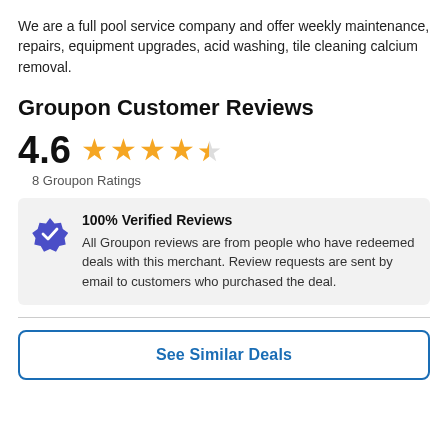We are a full pool service company and offer weekly maintenance, repairs, equipment upgrades, acid washing, tile cleaning calcium removal.
Groupon Customer Reviews
[Figure (infographic): Rating display showing 4.6 with 4.5 gold stars and '8 Groupon Ratings' label]
100% Verified Reviews
All Groupon reviews are from people who have redeemed deals with this merchant. Review requests are sent by email to customers who purchased the deal.
See Similar Deals